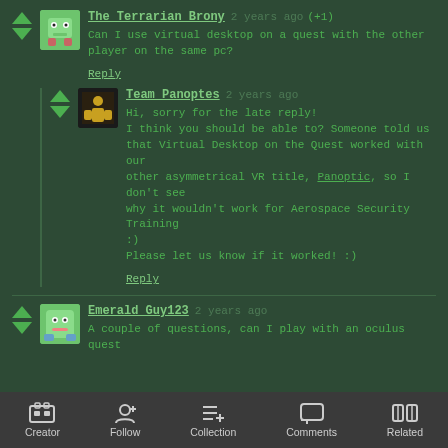The Terrarian Brony 2 years ago (+1)
Can I use virtual desktop on a quest with the other player on the same pc?
Reply
Team Panoptes 2 years ago
Hi, sorry for the late reply!
I think you should be able to? Someone told us that Virtual Desktop on the Quest worked with our other asymmetrical VR title, Panoptic, so I don't see why it wouldn't work for Aerospace Security Training :)
Please let us know if it worked! :)
Reply
Emerald_Guy123 2 years ago
A couple of questions, can I play with an oculus quest
Creator  Follow  Collection  Comments  Related